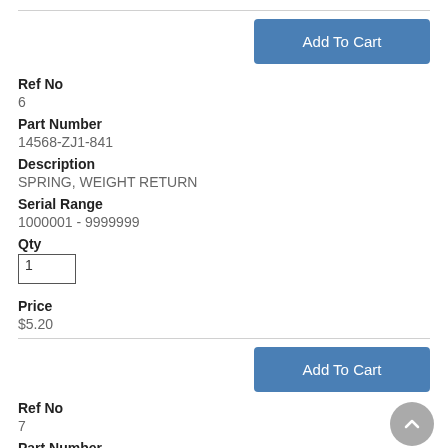Add To Cart
Ref No
6
Part Number
14568-ZJ1-841
Description
SPRING, WEIGHT RETURN
Serial Range
1000001 - 9999999
Qty
1
Price
$5.20
Add To Cart
Ref No
7
Part Number